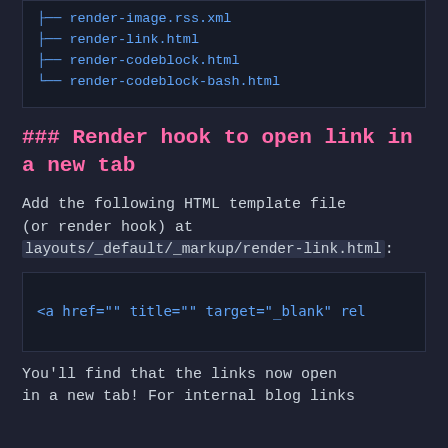[Figure (screenshot): Terminal/code tree view showing file names: render-image.rss.xml, render-link.html, render-codeblock.html, render-codeblock-bash.html]
### Render hook to open link in a new tab
Add the following HTML template file (or render hook) at layouts/_default/_markup/render-link.html:
[Figure (screenshot): Code block showing: <a href="" title="" target="_blank" rel]
You'll find that the links now open in a new tab! For internal blog links